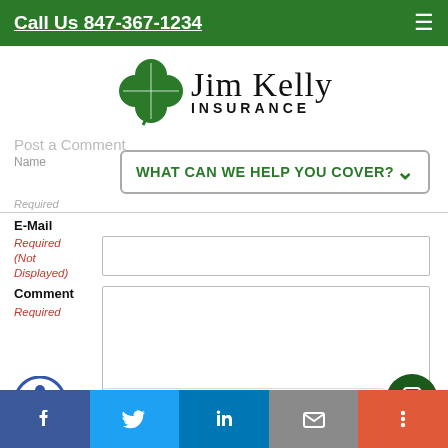Call Us 847-367-1234
[Figure (logo): Jim Kelly Insurance logo with green four-leaf clover and text 'Jim Kelly INSURANCE']
Post a Comment
Name
WHAT CAN WE HELP YOU COVER?
Required
E-Mail
Required (Not Displayed)
Comment
Required
All comments are moderated and stripped of HTML.
I'm not a robot